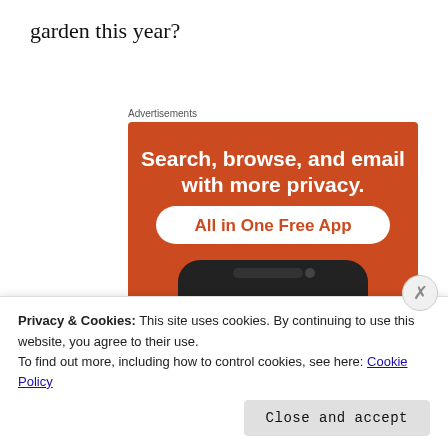garden this year?
Advertisements
[Figure (photo): DuckDuckGo advertisement banner on an orange background. Large white bold text reads 'Search, browse, and email with more privacy.' Below is a white rounded button with orange text reading 'All in One Free App'. A smartphone mockup shows the DuckDuckGo logo (duck mascot in an orange circle) and the text 'DuckDuckGo.']
Privacy & Cookies: This site uses cookies. By continuing to use this website, you agree to their use.
To find out more, including how to control cookies, see here: Cookie Policy
Close and accept